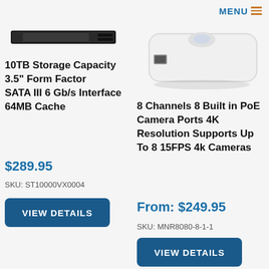MENU
[Figure (photo): Hard drive product photo - black rectangular storage drive]
10TB Storage Capacity
3.5" Form Factor
SATA III 6 Gb/s Interface
64MB Cache
$289.95
SKU: ST10000VX0004
VIEW DETAILS
[Figure (photo): White network video recorder (NVR) product photo]
8 Channels 8 Built in PoE Camera Ports 4K Resolution Supports Up To 8 15FPS 4k Cameras
From: $249.95
SKU: MNR8080-8-1-1
VIEW DETAILS